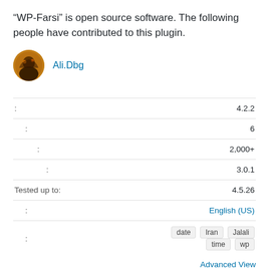“WP-Farsi” is open source software. The following people have contributed to this plugin.
Ali.Dbg
| Label | Value |
| --- | --- |
| :  | 4.2.2 |
| :  | 6 |
| :  | 2,000+ |
| :  | 3.0.1 |
| Tested up to: | 4.5.26 |
| :  | English (US) |
| :  | date  Iran  Jalali  time  wp |
Advanced View